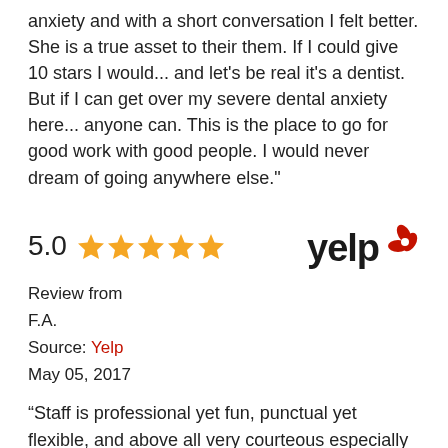anxiety and with a short conversation I felt better. She is a true asset to their them. If I could give 10 stars I would... and let's be real it's a dentist. But if I can get over my severe dental anxiety here... anyone can. This is the place to go for good work with good people. I would never dream of going anywhere else."
5.0 ★★★★★
[Figure (logo): Yelp logo with red burst icon and black 'yelp' text]
Review from
F.A.
Source: Yelp
May 05, 2017
“Staff is professional yet fun, punctual yet flexible, and above all very courteous especially Genet at the front desk. They greet you with a smile. Atmosphere is always warm and welcoming. Very responsible staff and doctor here!  I love this office! It is clean, well run, and the staff is respectful. Nicole my Hygienist was considerate, efficient, and informative. She was extremely kind and helped me be relaxed during my deep cleaning. She is the best. I was there most of inform...